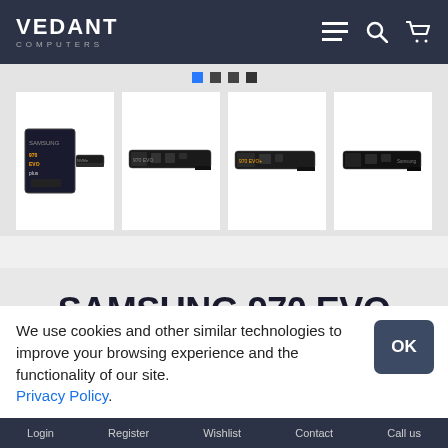VEDANT COMPUTERS
[Figure (screenshot): Four product thumbnail images of Samsung NVMe SSDs in a horizontal strip with slider navigation dots above]
SAMSUNG 970 EVO PLUS NVME M.2 500GB SSD
We use cookies and other similar technologies to improve your browsing experience and the functionality of our site. Privacy Policy.
Login   Register   Wishlist   Contact   Call us